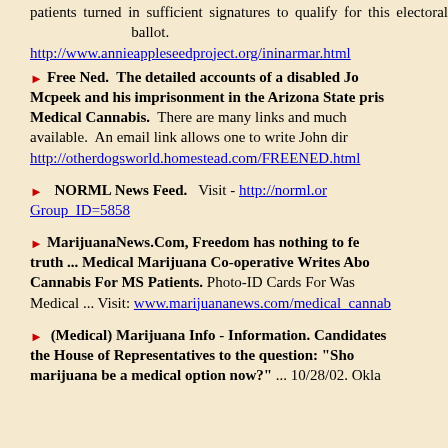patients turned in sufficient signatures to qualify for this electoral ballot. http://www.annieappleseedproject.org/ininarmar.html
Free Ned. The detailed accounts of a disabled Jo Mcpeek and his imprisonment in the Arizona State pris Medical Cannabis. There are many links and much available. An email link allows one to write John dir http://otherdogsworld.homestead.com/FREENED.html
NORML News Feed. Visit - http://norml.or Group_ID=5858
MarijuanaNews.Com, Freedom has nothing to fe truth ... Medical Marijuana Co-operative Writes Abo Cannabis For MS Patients. Photo-ID Cards For Was Medical ... Visit: www.marijuananews.com/medical_cannab
(Medical) Marijuana Info - Information. Candidates the House of Representatives to the question: "Sho marijuana be a medical option now?" ... 10/28/02. Okla